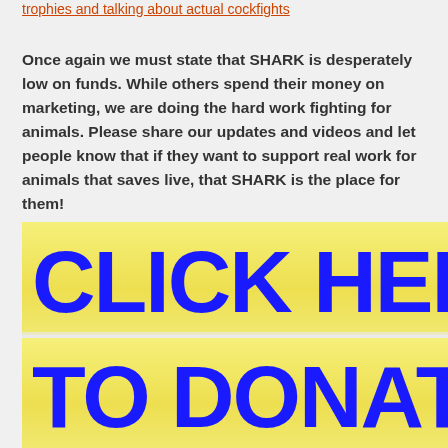trophies and talking about actual cockfights
Once again we must state that SHARK is desperately low on funds. While others spend their money on marketing, we are doing the hard work fighting for animals. Please share our updates and videos and let people know that if they want to support real work for animals that saves live, that SHARK is the place for them!
[Figure (other): Yellow gradient banner with large bold blue text reading 'CLICK HERE TO DONATE' - partially cropped on right side]